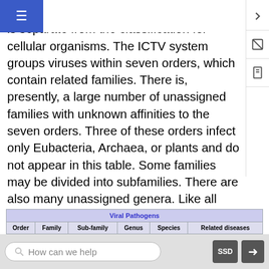esumed monophyly. The viral classification is separate from the classification system for cellular organisms. The ICTV system groups viruses within seven orders, which contain related families. There is, presently, a large number of unassigned families with unknown affinities to the seven orders. Three of these orders infect only Eubacteria, Archaea, or plants and do not appear in this table. Some families may be divided into subfamilies. There are also many unassigned genera. Like all taxonomies, viral taxonomy is in constant flux. The latest complete species list and classification can be obtained on the ICTV website.2
| Order | Family | Sub-family | Genus | Species | Related diseases |
| --- | --- | --- | --- | --- | --- |